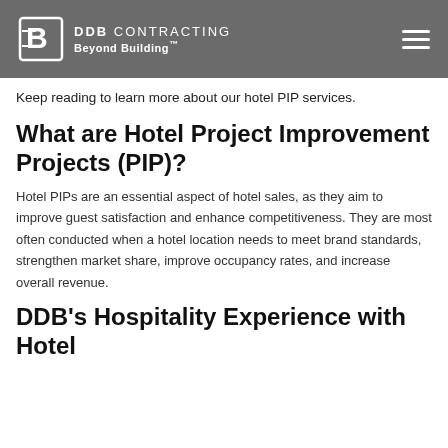DDB CONTRACTING Beyond Building™
Keep reading to learn more about our hotel PIP services.
What are Hotel Project Improvement Projects (PIP)?
Hotel PIPs are an essential aspect of hotel sales, as they aim to improve guest satisfaction and enhance competitiveness. They are most often conducted when a hotel location needs to meet brand standards, strengthen market share, improve occupancy rates, and increase overall revenue.
DDB's Hospitality Experience with Hotel